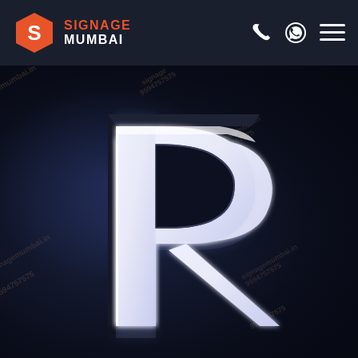[Figure (logo): Signage Mumbai logo: orange hexagon with white S letter, followed by SIGNAGE in orange and MUMBAI in white bold text]
[Figure (photo): Close-up photo of an illuminated 3D letter R signage on dark background, showing metallic acrylic front-lit channel letter with bright white LED lighting, photographed against a near-black dark navy background. Watermarks reading signage 9594757575 and signagemumbai.in are overlaid diagonally.]